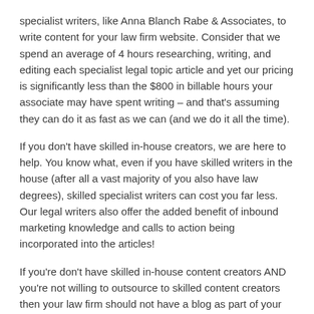specialist writers, like Anna Blanch Rabe & Associates, to write content for your law firm website. Consider that we spend an average of 4 hours researching, writing, and editing each specialist legal topic article and yet our pricing is significantly less than the $800 in billable hours your associate may have spent writing – and that's assuming they can do it as fast as we can (and we do it all the time).
If you don't have skilled in-house creators, we are here to help. You know what, even if you have skilled writers in the house (after all a vast majority of you also have law degrees), skilled specialist writers can cost you far less. Our legal writers also offer the added benefit of inbound marketing knowledge and calls to action being incorporated into the articles!
If you're don't have skilled in-house content creators AND you're not willing to outsource to skilled content creators then your law firm should not have a blog as part of your firm website.
Read more about Anna Blanch Rabe & Associates work creating specialist legal content for law firms.